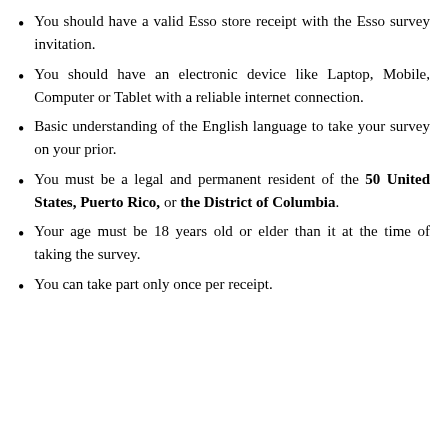You should have a valid Esso store receipt with the Esso survey invitation.
You should have an electronic device like Laptop, Mobile, Computer or Tablet with a reliable internet connection.
Basic understanding of the English language to take your survey on your prior.
You must be a legal and permanent resident of the 50 United States, Puerto Rico, or the District of Columbia.
Your age must be 18 years old or elder than it at the time of taking the survey.
You can take part only once per receipt.